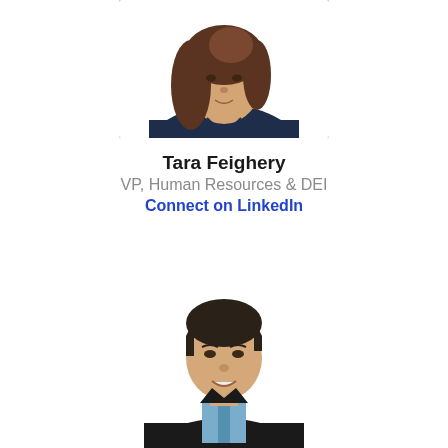[Figure (photo): Professional headshot of Tara Feighery, a woman with long brown hair wearing a dark navy top, photo cropped at shoulders, white background]
Tara Feighery
VP, Human Resources & DEI
Connect on LinkedIn
[Figure (photo): Professional headshot of a man with short dark hair, wearing a black suit jacket and light blue dress shirt, smiling, photo cropped at chest level, white background]